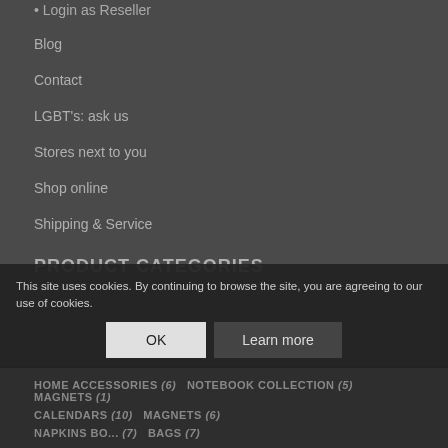Login as Reseller
Blog
Contact
LGBT's: ask us
Stores next to you
Shop online
Shipping & Service
PRODUCT CATEGORIES
HOME ACCESSORIES (6) NOTEBOOK COLLECTION (5) MAGNETS (1)
CALENDARS (10) MAGNETS (6)
NAPKINS BOOKS (7) BAGS (7)
This site uses cookies. By continuing to browse the site, you are agreeing to our use of cookies.